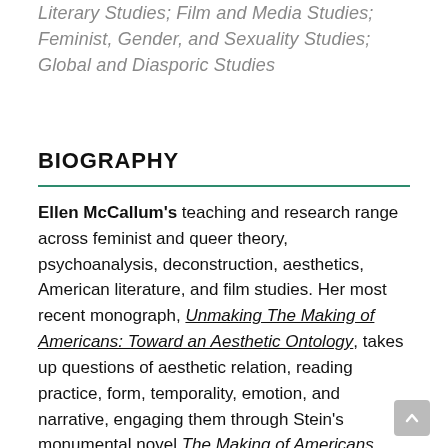Literary Studies; Film and Media Studies; Feminist, Gender, and Sexuality Studies; Global and Diasporic Studies
BIOGRAPHY
Ellen McCallum's teaching and research range across feminist and queer theory, psychoanalysis, deconstruction, aesthetics, American literature, and film studies. Her most recent monograph, Unmaking The Making of Americans: Toward an Aesthetic Ontology, takes up questions of aesthetic relation, reading practice, form, temporality, emotion, and narrative, engaging them through Stein's monumental novel The Making of Americans (SUNY 2018). A recent essay